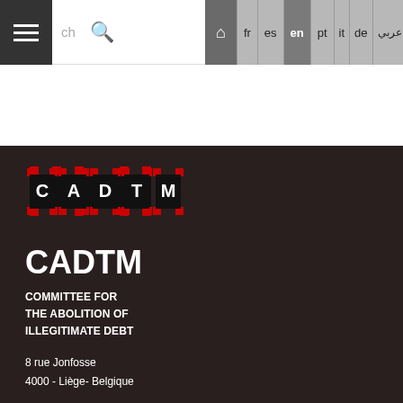CADTM navigation bar with search and language switcher: fr, es, en, pt, it, de, Arabic
[Figure (logo): CADTM logo: letters C A D T M in black squares with red corner accents on dark background]
CADTM
COMMITTEE FOR THE ABOLITION OF ILLEGITIMATE DEBT
8 rue Jonfosse
4000 - Liège- Belgique
00324 60 97 96 80
info@cadtm.org